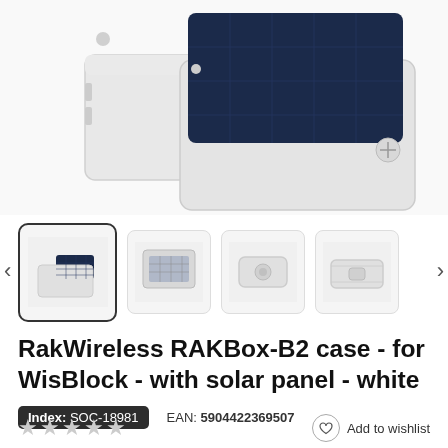[Figure (photo): Top portion of a white RAKBox-B2 enclosure with solar panel, showing two stacked white plastic boxes, the top one featuring a dark blue solar panel surface and a visible screw, against a white background]
[Figure (photo): Thumbnail strip showing four product images: first (active/selected) shows the device from an angle with solar panel visible, second shows the open box interior from above, third shows a side/front view of the closed white enclosure, fourth shows the bottom of the enclosure]
RakWireless RAKBox-B2 case - for WisBlock - with solar panel - white
Index: SOC-18981   EAN: 5904422369507
★★★★★   Add to wishlist